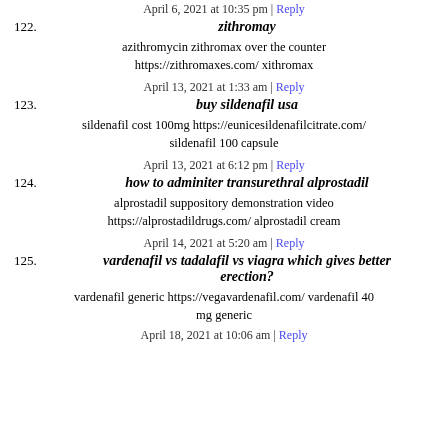122. zithromay — April 6, 2021 at 10:35 pm | Reply
azithromycin zithromax over the counter https://zithromaxes.com/ xithromax
123. buy sildenafil usa — April 13, 2021 at 1:33 am | Reply
sildenafil cost 100mg https://eunicesildenafilcitrate.com/ sildenafil 100 capsule
124. how to adminiter transurethral alprostadil — April 13, 2021 at 6:12 pm | Reply
alprostadil suppository demonstration video https://alprostadildrugs.com/ alprostadil cream
125. vardenafil vs tadalafil vs viagra which gives better erection? — April 14, 2021 at 5:20 am | Reply
vardenafil generic https://vegavardenafil.com/ vardenafil 40 mg generic
April 18, 2021 at 10:06 am | Reply